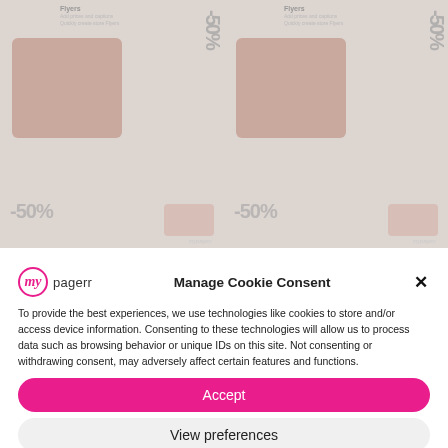[Figure (screenshot): Background showing product flyer cards with -50% discount badges in pink/mauve tones, arranged in two columns]
[Figure (screenshot): Cookie consent modal dialog with mypagerr logo, title 'Manage Cookie Consent', body text about cookies, Accept button, View preferences button, and links to Cookie Policy and Privacy Statement]
Manage Cookie Consent
To provide the best experiences, we use technologies like cookies to store and/or access device information. Consenting to these technologies will allow us to process data such as browsing behavior or unique IDs on this site. Not consenting or withdrawing consent, may adversely affect certain features and functions.
Accept
View preferences
Cookie Policy   Privacy Statement